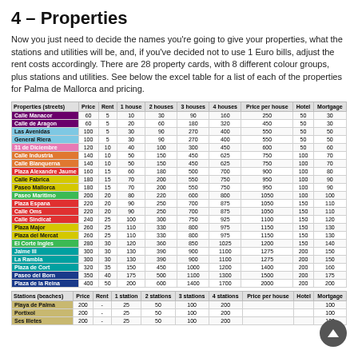4 – Properties
Now you just need to decide the names you're going to give your properties, what the stations and utilities will be, and, if you've decided not to use 1 Euro bills, adjust the rent costs accordingly. There are 28 property cards, with 8 different colour groups, plus stations and utilities. See below the excel table for a list of each of the properties for Palma de Mallorca and pricing.
| Properties (streets) | Price | Rent | 1 house | 2 houses | 3 houses | 4 houses | Price per house | Hotel | Mortgage |
| --- | --- | --- | --- | --- | --- | --- | --- | --- | --- |
| Calle Manacor | 60 | 5 | 10 | 30 | 90 | 160 | 250 | 50 | 30 |
| Calle de Aragon | 60 | 5 | 20 | 60 | 180 | 320 | 450 | 50 | 30 |
| Las Avenidas | 100 | 5 | 30 | 90 | 270 | 400 | 550 | 50 | 50 |
| General Riera | 100 | 5 | 30 | 90 | 270 | 400 | 550 | 50 | 50 |
| 31 de Diciembre | 120 | 10 | 40 | 100 | 300 | 450 | 600 | 50 | 60 |
| Calle Industria | 140 | 10 | 50 | 150 | 450 | 625 | 750 | 100 | 70 |
| Calle Blanquerna | 140 | 10 | 50 | 150 | 450 | 625 | 750 | 100 | 70 |
| Plaza Alexandre Jaume | 160 | 15 | 60 | 180 | 500 | 700 | 900 | 100 | 80 |
| Calle Fabrica | 180 | 15 | 70 | 200 | 550 | 750 | 950 | 100 | 90 |
| Paseo Mallorca | 180 | 15 | 70 | 200 | 550 | 750 | 950 | 100 | 90 |
| Paseo Maritimo | 200 | 20 | 80 | 220 | 600 | 800 | 1050 | 100 | 100 |
| Plaza Espana | 220 | 20 | 90 | 250 | 700 | 875 | 1050 | 150 | 110 |
| Calle Oms | 220 | 20 | 90 | 250 | 700 | 875 | 1050 | 150 | 110 |
| Calle Sindicat | 240 | 25 | 100 | 300 | 750 | 925 | 1100 | 150 | 120 |
| Plaza Major | 260 | 25 | 110 | 330 | 800 | 975 | 1150 | 150 | 130 |
| Plaza del Mercat | 260 | 25 | 110 | 330 | 800 | 975 | 1150 | 150 | 130 |
| El Corte Ingles | 280 | 30 | 120 | 360 | 850 | 1025 | 1200 | 150 | 140 |
| Jaime III | 300 | 30 | 130 | 390 | 900 | 1100 | 1275 | 200 | 150 |
| La Rambla | 300 | 30 | 130 | 390 | 900 | 1100 | 1275 | 200 | 150 |
| Plaza de Cort | 320 | 35 | 150 | 450 | 1000 | 1200 | 1400 | 200 | 160 |
| Paseo del Born | 350 | 40 | 175 | 500 | 1100 | 1300 | 1500 | 200 | 175 |
| Plaza de la Reina | 400 | 50 | 200 | 600 | 1400 | 1700 | 2000 | 200 | 200 |
| Stations (beaches) | Price | Rent | 1 station | 2 stations | 3 stations | 4 stations | Price per house | Hotel | Mortgage |
| --- | --- | --- | --- | --- | --- | --- | --- | --- | --- |
| Playa de Palma | 200 | - | 25 | 50 | 100 | 200 |  |  | 100 |
| Portixol | 200 | - | 25 | 50 | 100 | 200 |  |  | 100 |
| Ses Illetes | 200 | - | 25 | 50 | 100 | 200 |  |  | 100 |